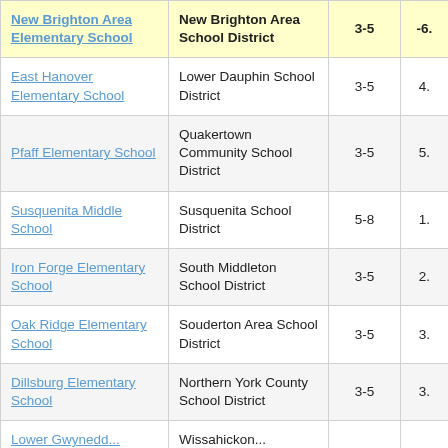| School | District | Grades | Value |
| --- | --- | --- | --- |
| New Brighton Area Elementary School | New Brighton Area School District | 3-5 | -6. |
| East Hanover Elementary School | Lower Dauphin School District | 3-5 | 4. |
| Pfaff Elementary School | Quakertown Community School District | 3-5 | 5. |
| Susquenita Middle School | Susquenita School District | 5-8 | 1. |
| Iron Forge Elementary School | South Middleton School District | 3-5 | 2. |
| Oak Ridge Elementary School | Souderton Area School District | 3-5 | 3. |
| Dillsburg Elementary School | Northern York County School District | 3-5 | 3. |
| Lower Gwynedd... | Wissahickon... |  |  |